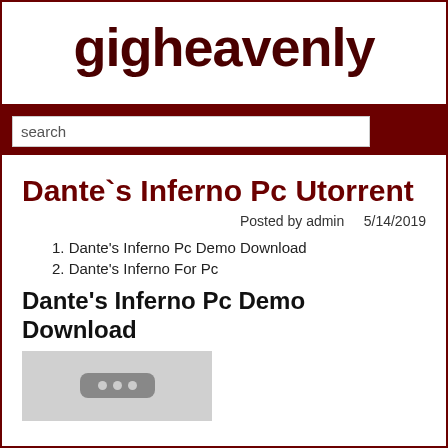gigheavenly
search
Dante`s Inferno Pc Utorrent
Posted by admin    5/14/2019
1. Dante's Inferno Pc Demo Download
2. Dante's Inferno For Pc
Dante's Inferno Pc Demo Download
[Figure (other): Video player placeholder with three dots icon on grey background]